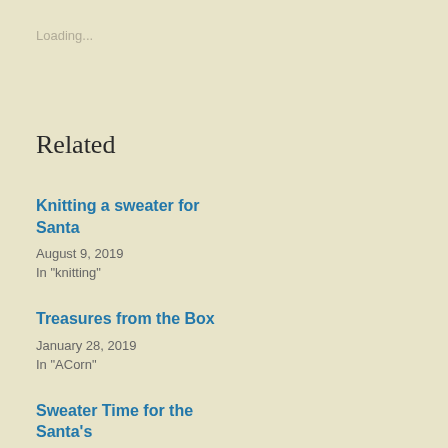Loading...
Related
Knitting a sweater for Santa
August 9, 2019
In "knitting"
Treasures from the Box
January 28, 2019
In "ACorn"
Sweater Time for the Santa's
August 6, 2020
In "knitting"